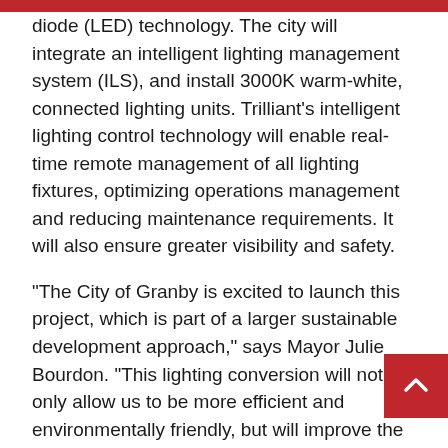diode (LED) technology. The city will integrate an intelligent lighting management system (ILS), and install 3000K warm-white, connected lighting units. Trilliant's intelligent lighting control technology will enable real-time remote management of all lighting fixtures, optimizing operations management and reducing maintenance requirements. It will also ensure greater visibility and safety.
“The City of Granby is excited to launch this project, which is part of a larger sustainable development approach,” says Mayor Julie Bourdon. “This lighting conversion will not only allow us to be more efficient and environmentally friendly, but will improve the safety of our citizens and our roads, increasing visibility. It will also generate a decrease